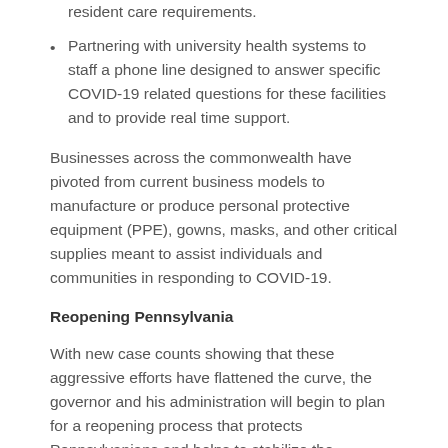resident care requirements.
Partnering with university health systems to staff a phone line designed to answer specific COVID-19 related questions for these facilities and to provide real time support.
Businesses across the commonwealth have pivoted from current business models to manufacture or produce personal protective equipment (PPE), gowns, masks, and other critical supplies meant to assist individuals and communities in responding to COVID-19.
Reopening Pennsylvania
With new case counts showing that these aggressive efforts have flattened the curve, the governor and his administration will begin to plan for a reopening process that protects Pennsylvanians and helps to stabilize the economy. The administration will work with economic and public health experts to determine the metrics used for safe reopening by taking a regional, sector-based approach.
In consultation with Team PA, the Department of Health, the Department of Community and Economic Development, the Department of Labor and Industry, the Pennsylvania Emergency